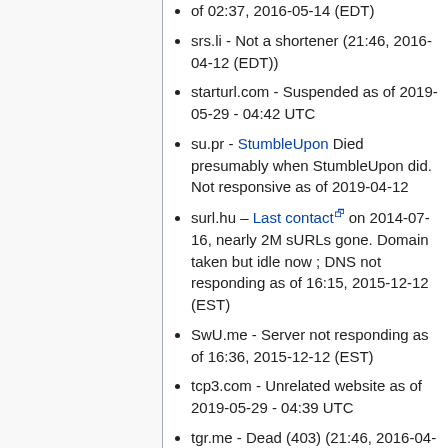of 02:37, 2016-05-14 (EDT)
srs.li - Not a shortener (21:46, 2016-04-12 (EDT))
starturl.com - Suspended as of 2019-05-29 - 04:42 UTC
su.pr - StumbleUpon Died presumably when StumbleUpon did. Not responsive as of 2019-04-12
surl.hu – Last contact on 2014-07-16, nearly 2M sURLs gone. Domain taken but idle now ; DNS not responding as of 16:15, 2015-12-12 (EST)
SwU.me - Server not responding as of 16:36, 2015-12-12 (EST)
tcp3.com - Unrelated website as of 2019-05-29 - 04:39 UTC
tgr.me - Dead (403) (21:46, 2016-04-12 (EDT))
theminiurl.com - DNS not responding